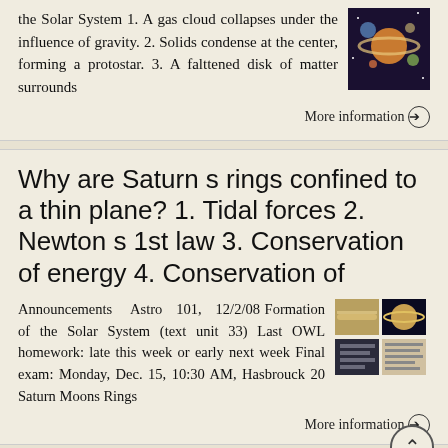the Solar System 1. A gas cloud collapses under the influence of gravity. 2. Solids condense at the center, forming a protostar. 3. A falttened disk of matter surrounds
[Figure (photo): Image of planets in the Solar System]
More information →
Why are Saturn s rings confined to a thin plane? 1. Tidal forces 2. Newton s 1st law 3. Conservation of energy 4. Conservation of
Announcements Astro 101, 12/2/08 Formation of the Solar System (text unit 33) Last OWL homework: late this week or early next week Final exam: Monday, Dec. 15, 10:30 AM, Hasbrouck 20 Saturn Moons Rings
[Figure (photo): Four small thumbnail images: Saturn rings, planet, and other astronomical images]
More information →
The History of the Earth